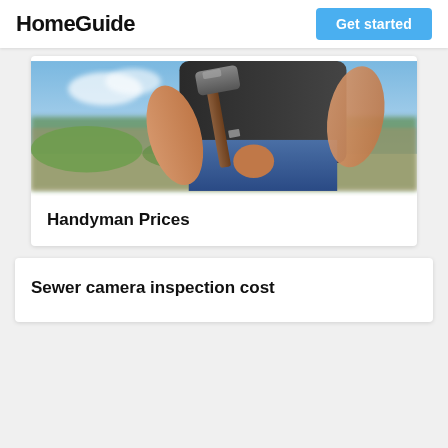HomeGuide
Get started
[Figure (photo): Person holding a hammer, outdoors with blurred background of trees and buildings]
Handyman Prices
Sewer camera inspection cost